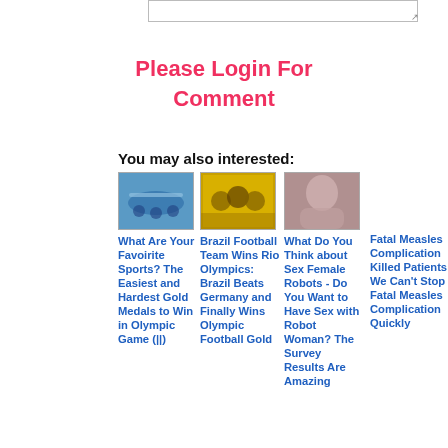Please Login For Comment
You may also interested:
[Figure (photo): Thumbnail image of cyclists/sports]
[Figure (photo): Thumbnail image of Brazil football team in yellow uniforms]
[Figure (photo): Thumbnail image of a woman]
What Are Your Favoirite Sports? The Easiest and Hardest Gold Medals to Win in Olympic Game (||)
Brazil Football Team Wins Rio Olympics: Brazil Beats Germany and Finally Wins Olympic Football Gold
What Do You Think about Sex Female Robots - Do You Want to Have Sex with Robot Woman? The Survey Results Are Amazing
Fatal Measles Complication Killed Patients If We Can't Stop Fatal Measles Complication Quickly